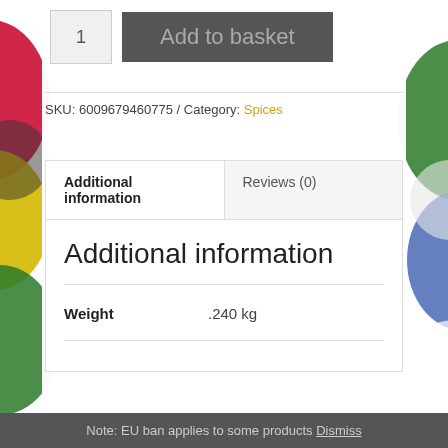[Figure (screenshot): Quantity input box showing '1' and a dark 'Add to basket' button]
SKU: 6009679460775 / Category: Spices
| Additional information | Reviews (0) |
| --- | --- |
| Weight | .240 kg |
Additional information
Weight    .240 kg
Note: EU ban applies to some products Dismiss